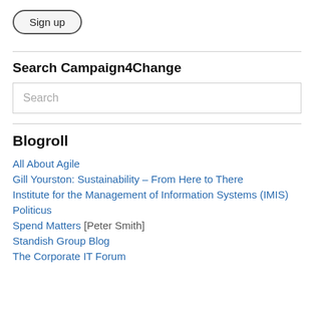[Figure (other): Sign up button with rounded pill-shaped border]
Search Campaign4Change
[Figure (other): Search input box with placeholder text 'Search']
Blogroll
All About Agile
Gill Yourston: Sustainability – From Here to There
Institute for the Management of Information Systems (IMIS)
Politicus
Spend Matters [Peter Smith]
Standish Group Blog
The Corporate IT Forum